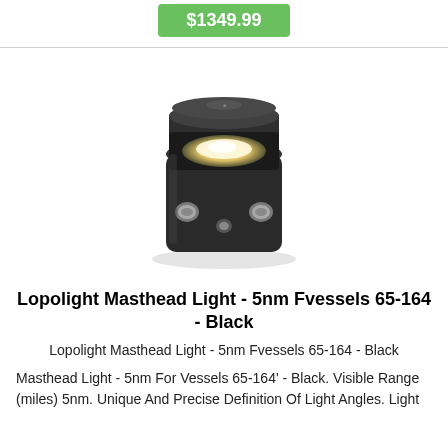$1349.99
[Figure (photo): Lopolight Masthead Light product photo - cylindrical black marine navigation light with illuminated lens and side mounting hardware]
Lopolight Masthead Light - 5nm Fvessels 65-164 - Black
Lopolight Masthead Light - 5nm Fvessels 65-164 - Black
Masthead Light - 5nm For Vessels 65-164' - Black. Visible Range (miles) 5nm. Unique And Precise Definition Of Light Angles. Light